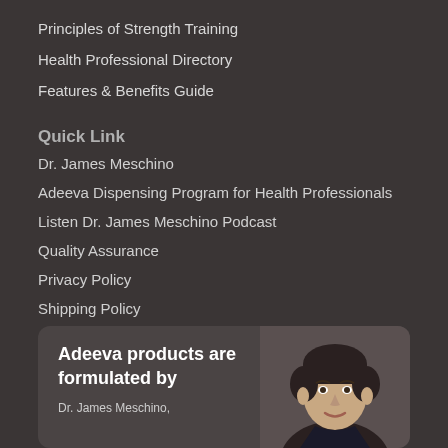Principles of Strength Training
Health Professional Directory
Features & Benefits Guide
Quick Link
Dr. James Meschino
Adeeva Dispensing Program for Health Professionals
Listen Dr. James Meschino Podcast
Quality Assurance
Privacy Policy
Shipping Policy
Return Policy
Contact Adëeva
[Figure (photo): Promotional card showing 'Adeeva products are formulated by' text alongside a photo of Dr. James Meschino, a middle-aged man with short dark hair smiling.]
Dr. James Meschino,